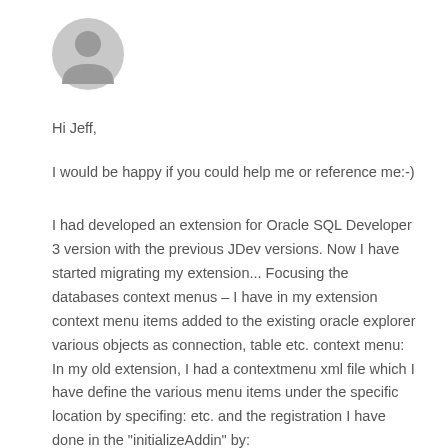[Figure (illustration): Circular grey avatar/profile icon with silhouette of a person]
Hi Jeff,
I would be happy if you could help me or reference me:-)
I had developed an extension for Oracle SQL Developer 3 version with the previous JDev versions. Now I have started migrating my extension... Focusing the databases context menus – I have in my extension context menu items added to the existing oracle explorer various objects as connection, table etc. context menu: In my old extension, I had a contextmenu xml file which I have define the various menu items under the specific location by specifing: etc. and the registration I have done in the "initializeAddin" by: Xmlbasedbjectsaction.registercontextmenus (Which currently is obselete).